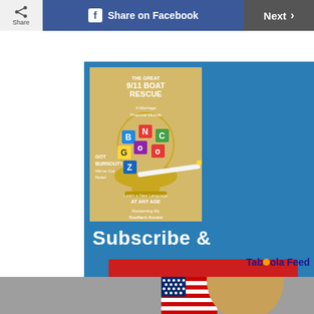[Figure (screenshot): Top navigation bar with Share button, Share on Facebook button, and Next button]
[Figure (infographic): Magazine subscription advertisement with blue background, showing a magazine cover with letter tiles on a trophy, headlines about 9/11 Boat Rescue, Marriage Proposal Miracle, Learn a New Language AT ANY AGE, Reclaiming My Southern Accent, and GOT BURNOUT? We've Got Relief. Large bold white text says 'Subscribe &' with a red button/bar below.]
Taboola Feed
[Figure (photo): Partial photo of a woman with blonde hair standing in front of an American flag, cropped at the bottom of the page.]